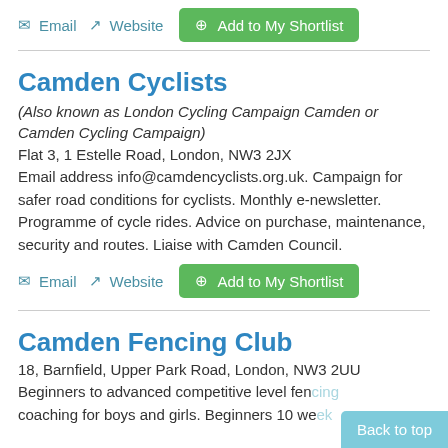Email  Website  Add to My Shortlist
Camden Cyclists
(Also known as London Cycling Campaign Camden or Camden Cycling Campaign)
Flat 3, 1 Estelle Road, London, NW3 2JX
Email address info@camdencyclists.org.uk. Campaign for safer road conditions for cyclists. Monthly e-newsletter. Programme of cycle rides. Advice on purchase, maintenance, security and routes. Liaise with Camden Council.
Email  Website  Add to My Shortlist
Camden Fencing Club
18, Barnfield, Upper Park Road, London, NW3 2UU
Beginners to advanced competitive level fencing coaching for boys and girls. Beginners 10 we
Back to top